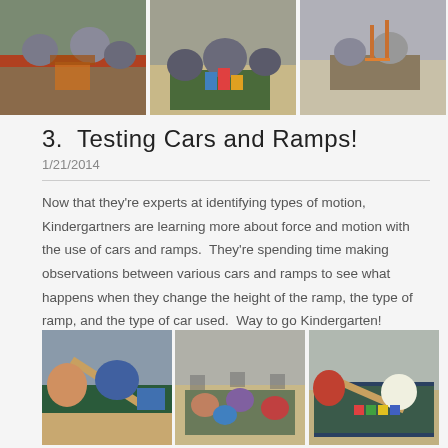[Figure (photo): Three photos of children working with building blocks and towers in a classroom setting]
3.  Testing Cars and Ramps!
1/21/2014
Now that they're experts at identifying types of motion, Kindergartners are learning more about force and motion with the use of cars and ramps.  They're spending time making observations between various cars and ramps to see what happens when they change the height of the ramp, the type of ramp, and the type of car used.  Way to go Kindergarten!
[Figure (photo): Three photos of kindergarten students working on the floor with ramps and cars during a science activity]